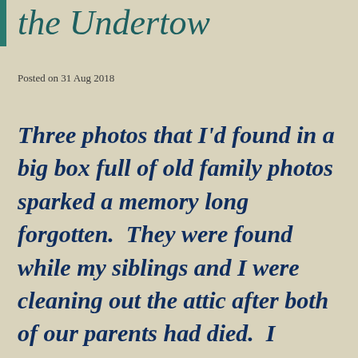the Undertow
Posted on 31 Aug 2018
Three photos that I'd found in a big box full of old family photos sparked a memory long forgotten.  They were found while my siblings and I were cleaning out the attic after both of our parents had died.  I wanted to try to write about